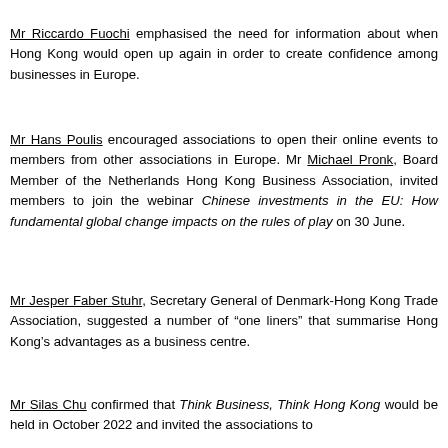Mr Riccardo Fuochi emphasised the need for information about when Hong Kong would open up again in order to create confidence among businesses in Europe.
Mr Hans Poulis encouraged associations to open their online events to members from other associations in Europe. Mr Michael Pronk, Board Member of the Netherlands Hong Kong Business Association, invited members to join the webinar Chinese investments in the EU: How fundamental global change impacts on the rules of play on 30 June.
Mr Jesper Faber Stuhr, Secretary General of Denmark-Hong Kong Trade Association, suggested a number of "one liners" that summarise Hong Kong's advantages as a business centre.
Mr Silas Chu confirmed that Think Business, Think Hong Kong would be held in October 2022 and invited the associations to